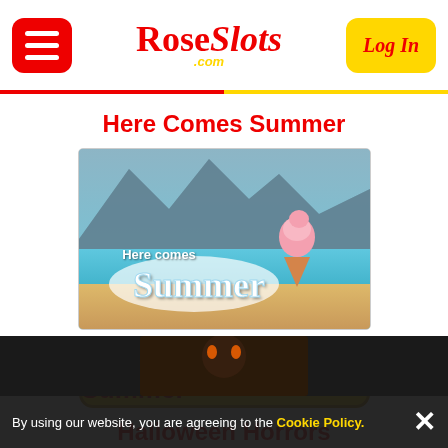RoseSlots.com — Navigation header with menu button and Log In button
Here Comes Summer
[Figure (illustration): Here Comes Summer slot game promotional image with beach, ocean, mountains, and ice cream cone. Text reads 'Here comes Summer' in stylized white lettering on blue background.]
Play Here Comes Summer
Halloween Horrors
[Figure (screenshot): Bottom strip showing partial Halloween Horrors game image on dark background]
By using our website, you are agreeing to the Cookie Policy.